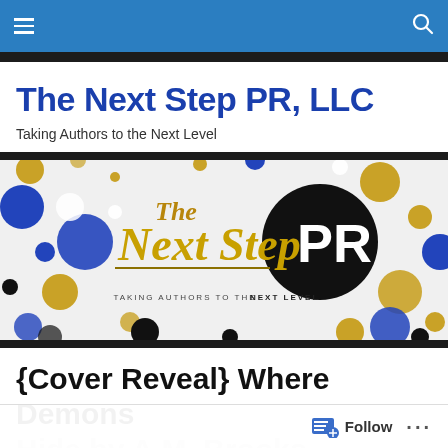Navigation bar with hamburger menu and search icon
The Next Step PR, LLC
Taking Authors to the Next Level
[Figure (logo): The Next Step PR banner logo with gold script text 'The Next Step' and bold white 'PR' on black circle, with gold, blue, black and white confetti circles, and text 'TAKING AUTHORS TO THE NEXT LEVEL']
{Cover Reveal} Where Demons Hide by A.M. Brooks
Follow button and more options